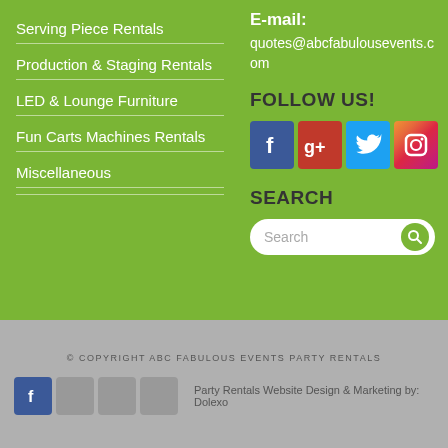Serving Piece Rentals
Production & Staging Rentals
LED & Lounge Furniture
Fun Carts Machines Rentals
Miscellaneous
E-mail: quotes@abcfabulousevents.com
FOLLOW US!
[Figure (logo): Social media icons: Facebook, Google+, Twitter, Instagram]
SEARCH
[Figure (other): Search bar with magnifier button]
© COPYRIGHT ABC FABULOUS EVENTS PARTY RENTALS
Party Rentals Website Design & Marketing by: Dolexo